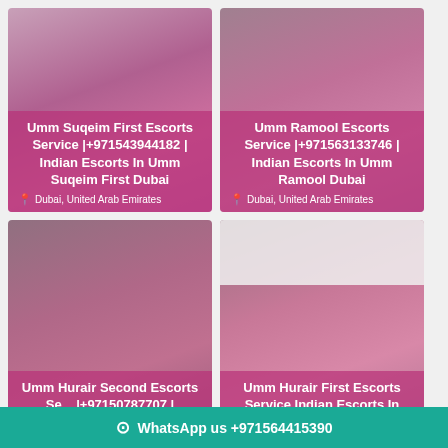[Figure (photo): Card 1: Woman photo with pink overlay - Umm Suqeim First Escorts Service]
Umm Suqeim First Escorts Service |+971543944182 | Indian Escorts In Umm Suqeim First Dubai
Dubai, United Arab Emirates
[Figure (photo): Card 2: Woman photo with pink overlay - Umm Ramool Escorts Service]
Umm Ramool Escorts Service |+971563133746 | Indian Escorts In Umm Ramool Dubai
Dubai, United Arab Emirates
[Figure (photo): Card 3: Woman photo with pink overlay - Umm Hurair Second Escorts Service]
Umm Hurair Second Escorts Se... |+97150787707 |
[Figure (photo): Card 4: Woman with sunglasses photo - Umm Hurair First Escorts Service]
Umm Hurair First Escorts Service Indian Escorts In
WhatsApp us +971564415390